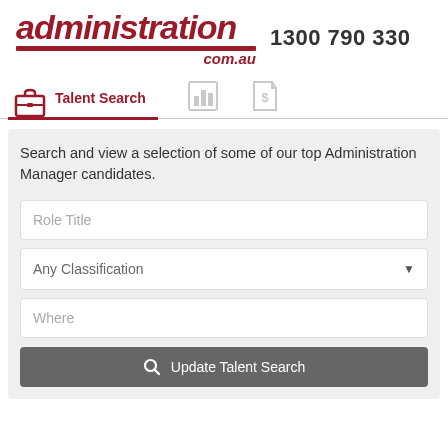[Figure (logo): administration.com.au logo in dark red/crimson italic bold text with a red underline bar and 'com.au' right-aligned below, plus phone number 1300 790 330 to the right]
[Figure (screenshot): Navigation tab bar with active 'Talent Search' tab (briefcase icon, dark red label, red underline), and two inactive tabs with bar chart icon and dollar sign document icon]
Search and view a selection of some of our top Administration Manager candidates.
Role Title
Any Classification
Where
Update Talent Search